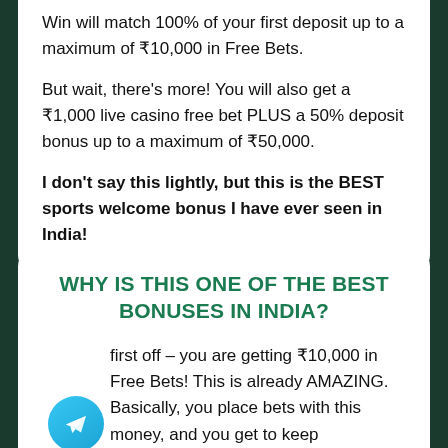Win will match 100% of your first deposit up to a maximum of ₹10,000 in Free Bets.
But wait, there's more! You will also get a ₹1,000 live casino free bet PLUS a 50% deposit bonus up to a maximum of ₹50,000.
I don't say this lightly, but this is the BEST sports welcome bonus I have ever seen in India!
WHY IS THIS ONE OF THE BEST BONUSES IN INDIA?
first off – you are getting ₹10,000 in Free Bets! This is already AMAZING. Basically, you place bets with this money, and you get to keep